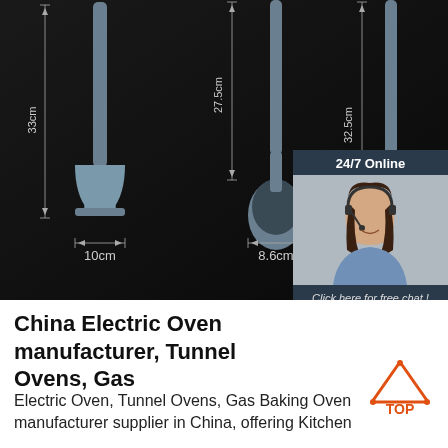[Figure (photo): Product measurement photo showing three silicone kitchen utensils (spatula 33cm long, 10cm wide; ladle 27.5cm long, 8.6cm wide; and a third utensil 32.5cm) against a dark background with dimension annotations and measurement lines. Overlaid with a customer service chat box showing '24/7 Online', agent photo, 'Click here for free chat!' text, and an orange QUOTATION button.]
China Electric Oven manufacturer, Tunnel Ovens, Gas
Electric Oven, Tunnel Ovens, Gas Baking Oven manufacturer supplier in China, offering Kitchen